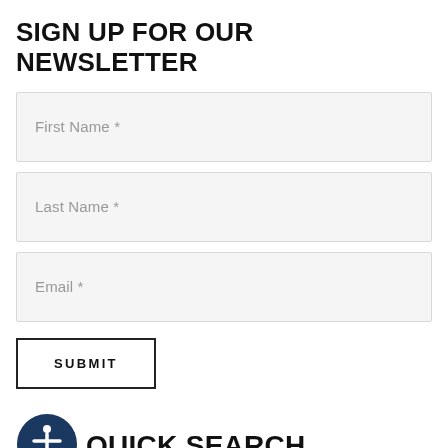SIGN UP FOR OUR NEWSLETTER
First Name *
Last Name *
Email *
SUBMIT
QUICK SEARCH